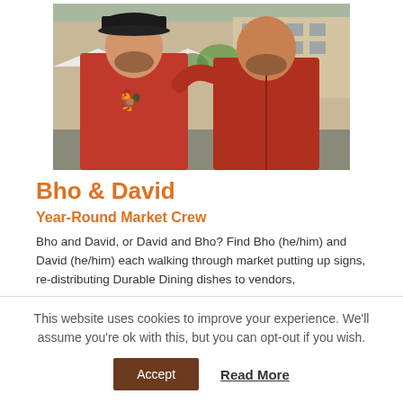[Figure (photo): Two men wearing red hoodies/shirts standing together outdoors at a market, smiling. The left figure wears a black cap and a red shirt with a rooster graphic. Buildings and market tents visible in the background.]
Bho & David
Year-Round Market Crew
Bho and David, or David and Bho? Find Bho (he/him) and David (he/him) each walking through market putting up signs, re-distributing Durable Dining dishes to vendors,
This website uses cookies to improve your experience. We'll assume you're ok with this, but you can opt-out if you wish.
Accept
Read More